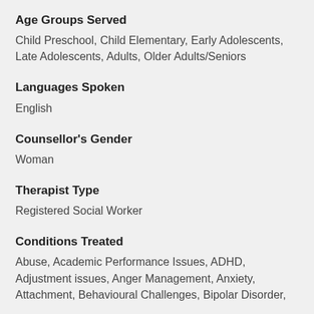Age Groups Served
Child Preschool, Child Elementary, Early Adolescents, Late Adolescents, Adults, Older Adults/Seniors
Languages Spoken
English
Counsellor's Gender
Woman
Therapist Type
Registered Social Worker
Conditions Treated
Abuse, Academic Performance Issues, ADHD, Adjustment issues, Anger Management, Anxiety, Attachment, Behavioural Challenges, Bipolar Disorder,